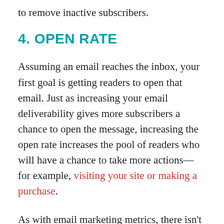to remove inactive subscribers.
4. OPEN RATE
Assuming an email reaches the inbox, your first goal is getting readers to open that email. Just as increasing your email deliverability gives more subscribers a chance to open the message, increasing the open rate increases the pool of readers who will have a chance to take more actions—for example, visiting your site or making a purchase.
As with email marketing metrics, there isn't a single “right” way to approach a low open rate.